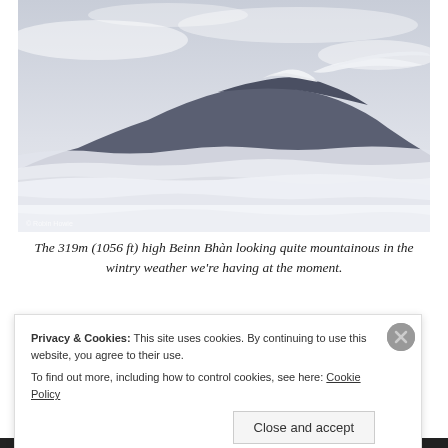[Figure (photo): A snow-capped mountain (Beinn Bhàn) partially obscured by low clouds and mist against a grey winter sky]
The 319m (1056 ft) high Beinn Bhàn looking quite mountainous in the wintry weather we're having at the moment.
Privacy & Cookies: This site uses cookies. By continuing to use this website, you agree to their use. To find out more, including how to control cookies, see here: Cookie Policy